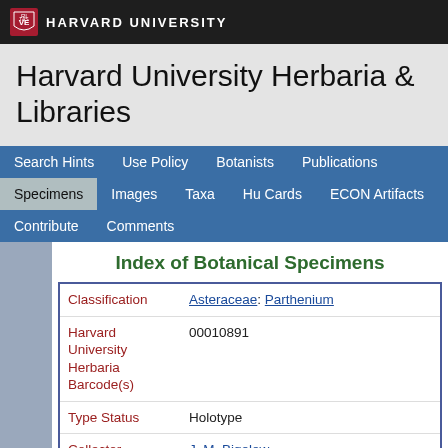HARVARD UNIVERSITY
Harvard University Herbaria & Libraries
Search Hints | Use Policy | Botanists | Publications | Specimens | Images | Taxa | Hu Cards | ECON Artifacts | Contribute | Comments
Index of Botanical Specimens
| Field | Value |
| --- | --- |
| Classification | Asteraceae: Parthenium |
| Harvard University Herbaria Barcode(s) | 00010891 |
| Type Status | Holotype |
| Collector | J. M. Bigelow |
| Collector number | 83 |
| Country | United States of America |